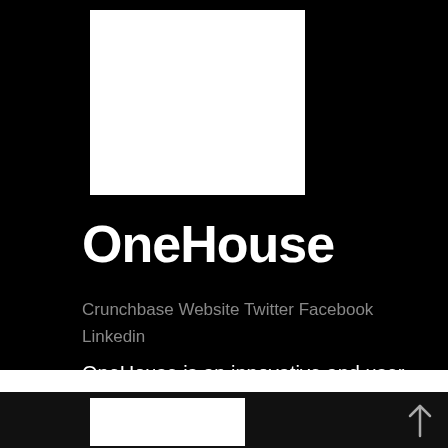[Figure (logo): White square logo block on black background for OneHouse]
OneHouse
Crunchbase Website Twitter Facebook Linkedin
OneHouse is an innovative and user-focused real estate marketplace in Hong Kong.